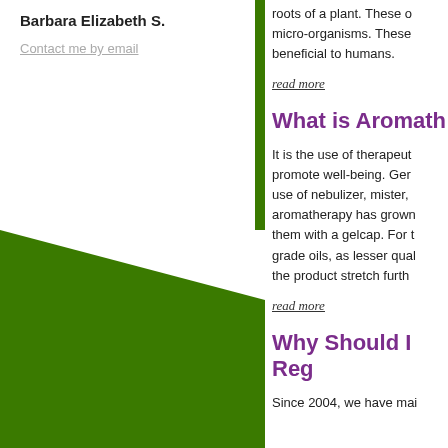Barbara Elizabeth S.
Contact me by email
roots of a plant. These o... micro-organisms. These ... beneficial to humans.
read more
What is Aromath...
It is the use of therapeut... promote well-being. Ger... use of nebulizer, mister, ... aromatherapy has grown... them with a gelcap. For t... grade oils, as lesser qual... the product stretch furth...
read more
Why Should I Reg...
Since 2004, we have mai...